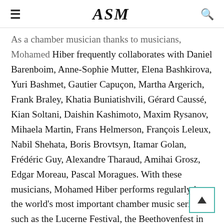≡  ASM  🔍
...As a chamber musician thanks to musicians, Mohamed Hiber frequently collaborates with Daniel Barenboim, Anne-Sophie Mutter, Elena Bashkirova, Yuri Bashmet, Gautier Capuçon, Martha Argerich, Frank Braley, Khatia Buniatishvili, Gérard Caussé, Kian Soltani, Daishin Kashimoto, Maxim Rysanov, Mihaela Martin, Frans Helmerson, François Leleux, Nabil Shehata, Boris Brovtsyn, Itamar Golan, Frédéric Guy, Alexandre Tharaud, Amihai Grosz, Edgar Moreau, Pascal Moragues. With these musicians, Mohamed Hiber performs regularly in the world's most important chamber music series, such as the Lucerne Festival, the Beethovenfest in Bonn, the Intonations Festival in Berlin, the Salzburg Festival, the